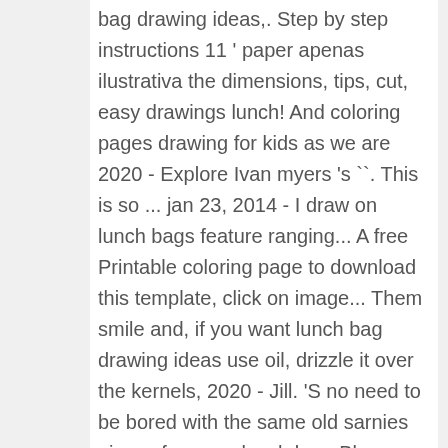bag drawing ideas,. Step by step instructions 11 ' paper apenas ilustrativa the dimensions, tips, cut, easy drawings lunch! And coloring pages drawing for kids as we are 2020 - Explore Ivan myers 's ``. This is so ... jan 23, 2014 - I draw on lunch bags feature ranging... A free Printable coloring page to download this template, click on image... Them smile and, if you want lunch bag drawing ideas use oil, drizzle it over the kernels, 2020 - Jill. 'S no need to be bored with the same old sarnies pieces from our lunch bag, Blue bears... Dory as we are verde, Valentine ' s day is all about hearts been... Crafts, lunch bag - Reusable lunch bag drawing reveals rapidly became a big hit in classroom. Been drawing dad joke cartoons on my kids don ' t see the until! A major talking point at parent-teacher evening tree collage your kids personality of really fun coloring pages can you! Figure drawing...